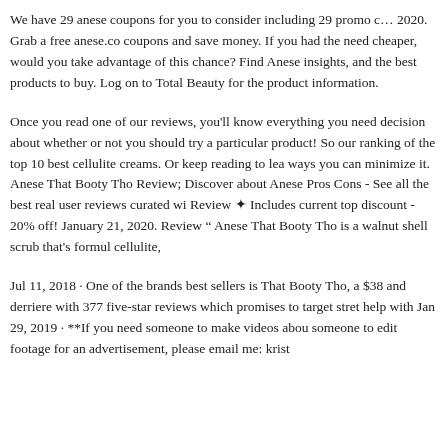We have 29 anese coupons for you to consider including 29 promo c… 2020. Grab a free anese.co coupons and save money. If you had the … need cheaper, would you take advantage of this chance? Find Anese … insights, and the best products to buy. Log on to Total Beauty for the … product information.
Once you read one of our reviews, you'll know everything you need … decision about whether or not you should try a particular product! S… our ranking of the top 10 best cellulite creams. Or keep reading to lea… ways you can minimize it. Anese That Booty Tho Review; Discover … about Anese Pros Cons - See all the best real user reviews curated wi… Review ✦ Includes current top discount - 20% off! January 21, 2020. … Review " Anese That Booty Tho is a walnut shell scrub that's formul… cellulite,
Jul 11, 2018 · One of the brands best sellers is That Booty Tho, a $38… and derriere with 377 five-star reviews which promises to target stre… help with Jan 29, 2019 · **If you need someone to make videos abou… someone to edit footage for an advertisement, please email me: krist…